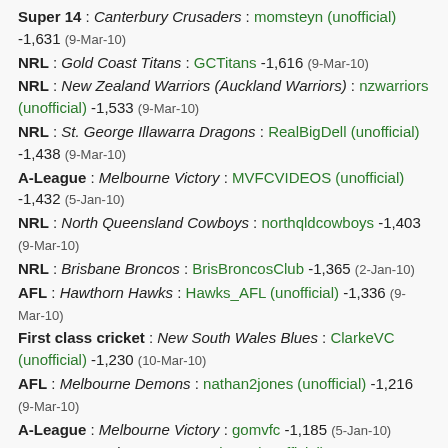Super 14 : Canterbury Crusaders : momsteyn (unofficial) -1,631 (9-Mar-10)
NRL : Gold Coast Titans : GCTitans -1,616 (9-Mar-10)
NRL : New Zealand Warriors (Auckland Warriors) : nzwarriors (unofficial) -1,533 (9-Mar-10)
NRL : St. George Illawarra Dragons : RealBigDell (unofficial) -1,438 (9-Mar-10)
A-League : Melbourne Victory : MVFCVIDEOS (unofficial) -1,432 (5-Jan-10)
NRL : North Queensland Cowboys : northqldcowboys -1,403 (9-Mar-10)
NRL : Brisbane Broncos : BrisBroncosClub -1,365 (2-Jan-10)
AFL : Hawthorn Hawks : Hawks_AFL (unofficial) -1,336 (9-Mar-10)
First class cricket : New South Wales Blues : ClarkeVC (unofficial) -1,230 (10-Mar-10)
AFL : Melbourne Demons : nathan2jones (unofficial) -1,216 (9-Mar-10)
A-League : Melbourne Victory : gomvfc -1,185 (5-Jan-10)
NRL : Wests Tigers : Wests_Tigers (unofficial) -1,165 (9-Mar-10)
Super 14 : Durban Sharks (Coastal Sharks)(Natal Sharks)...